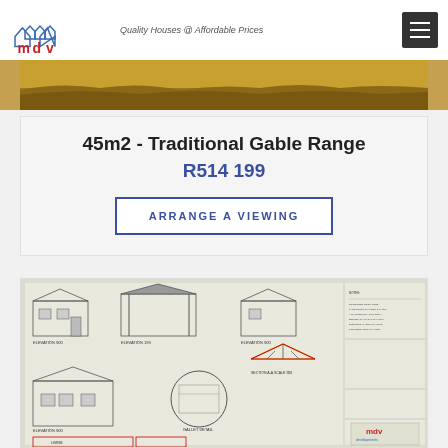[Figure (logo): MDV Developments logo with house icons and tagline 'Quality Houses @ Affordable Prices']
[Figure (photo): Hero landscape banner photo showing dry savanna/bushveld terrain]
45m2 - Traditional Gable Range
R514 199
ARRANGE A VIEWING
[Figure (engineering-diagram): Architectural blueprint/technical drawing of a 45m2 traditional gable house showing multiple elevations, section details, and a gable truss section (Section A-A Scale 900), including a GALLET DETAIL circle callout, floor plan layout with LIVING area marked, and notes column on right side with MDV logo.]